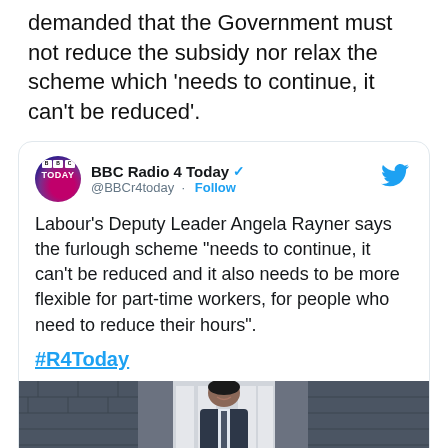demanded that the Government must not reduce the subsidy nor relax the scheme which 'needs to continue, it can't be reduced'.
[Figure (screenshot): Embedded tweet from BBC Radio 4 Today (@BBCr4today) with verified badge. Tweet text: Labour's Deputy Leader Angela Rayner says the furlough scheme "needs to continue, it can't be reduced and it also needs to be more flexible for part-time workers, for people who need to reduce their hours". Hashtag #R4Today. Below the tweet text is a photo of a man (Rishi Sunak) smiling outside 10 Downing Street.]